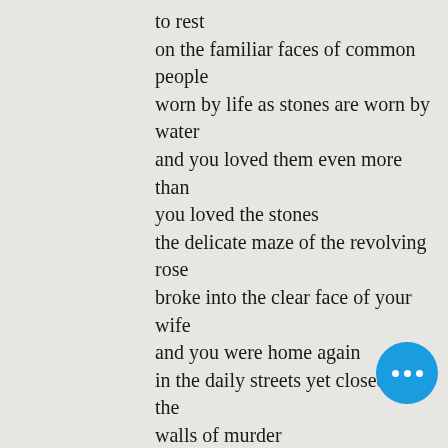to rest
on the familiar faces of common people
worn by life as stones are worn by water
and you loved them even more than you loved the stones
the delicate maze of the revolving rose
broke into the clear face of your wife
and you were home again
in the daily streets yet closed with the walls of murder
seeking another way to break and pierce them
the way of simple union and shared needs
the lionheart of honey the furious tooth of salt
the spinning wheel of the cottage-flower
the children's voices kiteflown in dusk
the body of labour broken as bread is